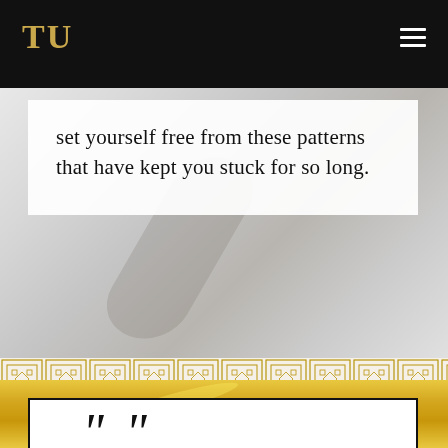TU
set yourself free from these patterns that have kept you stuck for so long.
[Figure (illustration): Gold geometric diamond/Greek key pattern band border]
[Figure (photo): Gold metallic fabric/ribbon texture with white bordered card partially visible at bottom showing script quotation marks]